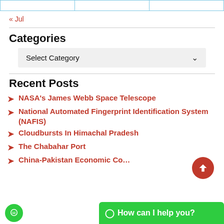|  |  |  |
| --- | --- | --- |
|   |   |   |
« Jul
Categories
Select Category
Recent Posts
NASA's James Webb Space Telescope
National Automated Fingerprint Identification System (NAFIS)
Cloudbursts In Himachal Pradesh
The Chabahar Port
China-Pakistan Economic Co…